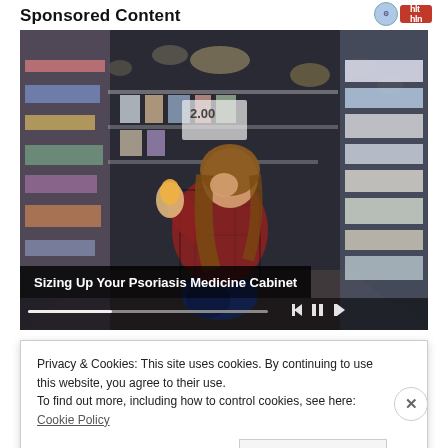Sponsored Content
[Figure (photo): Woman in a plaid shirt crouching in a supermarket aisle, reading the label on a product, surrounded by shelves of goods. Video player controls visible at bottom of image.]
Sizing Up Your Psoriasis Medicine Cabinet
Privacy & Cookies: This site uses cookies. By continuing to use this website, you agree to their use.
To find out more, including how to control cookies, see here: Cookie Policy
Close and accept